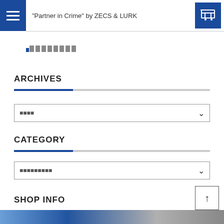"Partner in Crime" by ZECS & LURK
ARCHIVES
CATEGORY
SHOP INFO